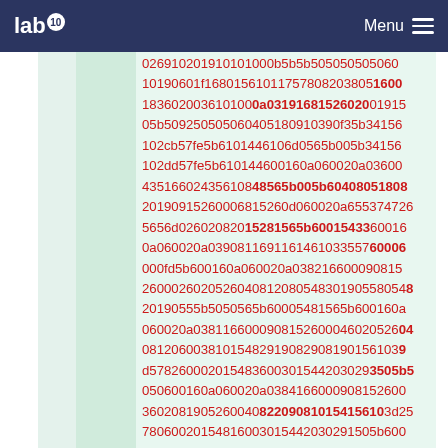lab10 Menu
026910201910101000b5b5b505050505060010190601f168015610117578082038051600183602003610100 0a0319168152602001915 05b509250505060405180910390f35b3415 6102cb57fe5b6101446106d0565b005b34156102dd57fe5b610144600160a060020a036004351660243561 0848565b005b60408051808201909152600006815260d060020a655374726 5656d0260202082015281565b6001543 360016 0a060020a039081169116146103355760006000fd5b600160a060020a038216600090815260 0260202052604081208054830 1905580548201905555b5050565b60005481565b600160a 060020a038116600090815260004602052604 081206003810154829190829081901561039d578260002015483600301544203029 3505b5050600160a060020a03841660009081526026003602081905260040822090810154156103d257806002015481600301544203029 1505b600160a060020a038616600090815260260434052600908101542600260205260409020548401829000394505b5050505 09